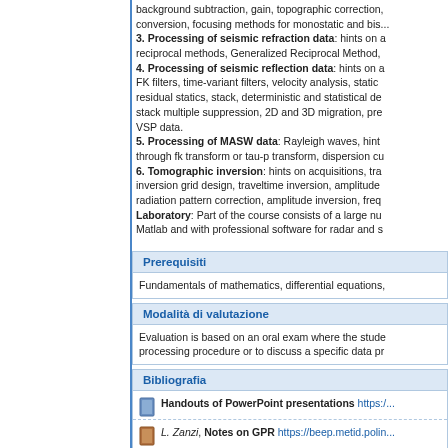background subtraction, gain, topographic correction, conversion, focusing methods for monostatic and bis...
3. Processing of seismic refraction data: hints on a reciprocal methods, Generalized Reciprocal Method,
4. Processing of seismic reflection data: hints on a FK filters, time-variant filters, velocity analysis, static residual statics, stack, deterministic and statistical de stack multiple suppression, 2D and 3D migration, pre VSP data.
5. Processing of MASW data: Rayleigh waves, hint through fk transform or tau-p transform, dispersion cu
6. Tomographic inversion: hints on acquisitions, tra inversion grid design, traveltime inversion, amplitude radiation pattern correction, amplitude inversion, freq
Laboratory: Part of the course consists of a large nu Matlab and with professional software for radar and s
Prerequisiti
Fundamentals of mathematics, differential equations,
Modalità di valutazione
Evaluation is based on an oral exam where the stude processing procedure or to discuss a specific data pr
Bibliografia
Handouts of PowerPoint presentations https://...
L. Zanzi, Notes on GPR https://beep.metid.polin...